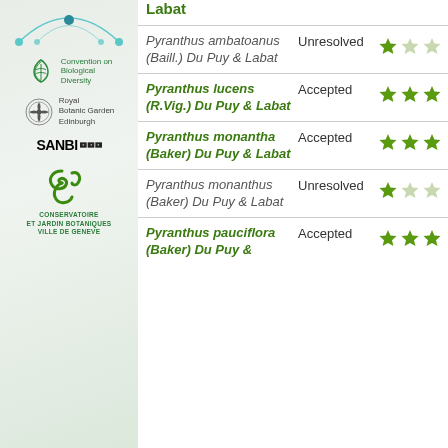[Figure (logo): Top decorative arc/network diagram in teal]
[Figure (logo): Convention on Biological Diversity logo - green leaf icon with text]
[Figure (logo): Royal Botanic Garden Edinburgh logo - circular emblem with text]
[Figure (logo): SANBI Biodiversity logo - black squares with plant icons]
[Figure (logo): Conservatoire et Jardin Botaniques Ville de Geneve logo - green swirl icon]
Labat
Pyranthus ambatoanus (Baill.) Du Puy & Labat - Unresolved - 1 star rating
Pyranthus lucens (R.Vig.) Du Puy & Labat - Accepted - 3 star rating
Pyranthus monantha (Baker) Du Puy & Labat - Accepted - 3 star rating
Pyranthus monanthus (Baker) Du Puy & Labat - Unresolved - 1 star rating
Pyranthus pauciflora (Baker) Du Puy & Labat - Accepted - 3 star rating